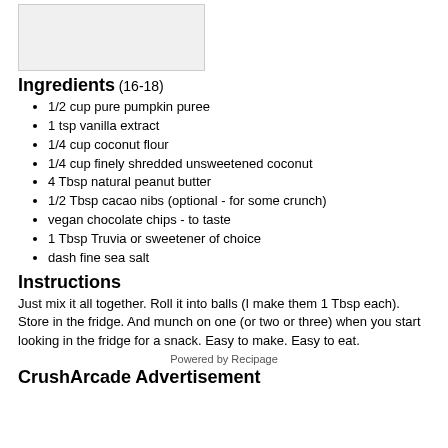[Figure (photo): Recipe image placeholder, light gray box]
Ingredients (16-18)
1/2 cup pure pumpkin puree
1 tsp vanilla extract
1/4 cup coconut flour
1/4 cup finely shredded unsweetened coconut
4 Tbsp natural peanut butter
1/2 Tbsp cacao nibs (optional - for some crunch)
vegan chocolate chips - to taste
1 Tbsp Truvia or sweetener of choice
dash fine sea salt
Instructions
Just mix it all together. Roll it into balls (I make them 1 Tbsp each). Store in the fridge. And munch on one (or two or three) when you start looking in the fridge for a snack. Easy to make. Easy to eat.
Powered by Recipage
CrushArcade Advertisement